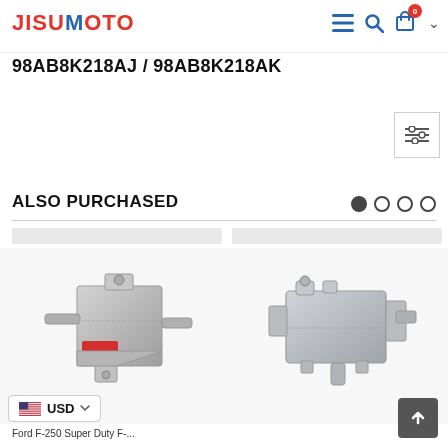JISUMOTO — navigation header with menu, search, cart (0), chevron icons
98AB8K218AJ / 98AB8K218AK
ALSO PURCHASED
[Figure (photo): Product photo of a metal coolant overflow reservoir/expansion tank bracket assembly, silver/aluminum colored, with a red label sticker and protruding fittings]
[Figure (photo): Product photo of a grey plastic coolant overflow reservoir/expansion tank, rectangular box shape with fittings and mounting clips]
Ford F-250 Super Duty F-...